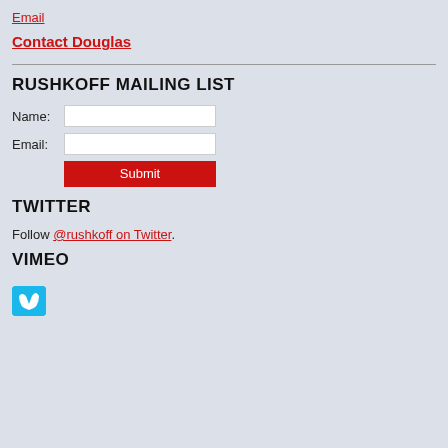Email
Contact Douglas
RUSHKOFF MAILING LIST
Name: [input] Email: [input] Submit
TWITTER
Follow @rushkoff on Twitter.
VIMEO
[Figure (logo): Vimeo logo icon, blue square with white V shape]